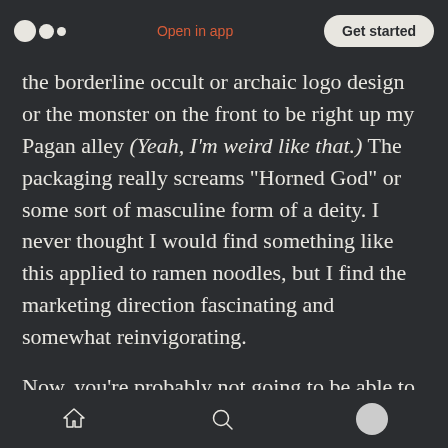Medium app header — Open in app | Get started
the borderline occult or archaic logo design or the monster on the front to be right up my Pagan alley (Yeah, I'm weird like that.) The packaging really screams "Horned God" or some sort of masculine form of a deity. I never thought I would find something like this applied to ramen noodles, but I find the marketing direction fascinating and somewhat reinvigorating.
Now, you're probably not going to be able to find these instant noodles from Wicked Ramen anywhere. My wife picked this up, along with a few others, from an event shop. However, you
Home | Search | Profile